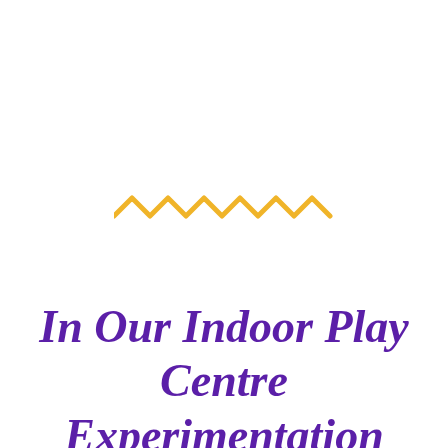[Figure (illustration): A yellow zigzag/wavy line decoration centered on the page]
In Our Indoor Play Centre Experimentation Develops Creativity